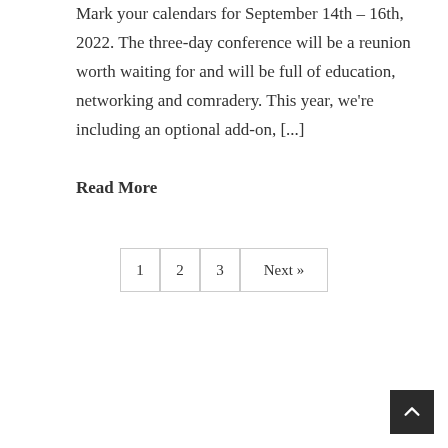Mark your calendars for September 14th – 16th, 2022. The three-day conference will be a reunion worth waiting for and will be full of education, networking and comradery. This year, we're including an optional add-on, [...]
Read More
1  2  3  Next »